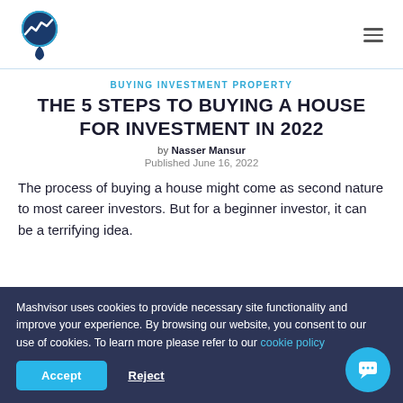TMT logo and navigation header
BUYING INVESTMENT PROPERTY
THE 5 STEPS TO BUYING A HOUSE FOR INVESTMENT IN 2022
by Nasser Mansur
Published June 16, 2022
The process of buying a house might come as second nature to most career investors. But for a beginner investor, it can be a terrifying idea.
Mashvisor uses cookies to provide necessary site functionality and improve your experience. By browsing our website, you consent to our use of cookies. To learn more please refer to our cookie policy